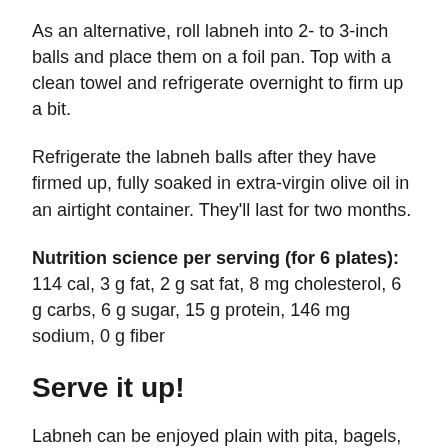As an alternative, roll labneh into 2- to 3-inch balls and place them on a foil pan. Top with a clean towel and refrigerate overnight to firm up a bit.
Refrigerate the labneh balls after they have firmed up, fully soaked in extra-virgin olive oil in an airtight container. They'll last for two months.
Nutrition science per serving (for 6 plates): 114 cal, 3 g fat, 2 g sat fat, 8 mg cholesterol, 6 g carbs, 6 g sugar, 15 g protein, 146 mg sodium, 0 g fiber
Serve it up!
Labneh can be enjoyed plain with pita, bagels, or chips, or it can be used to make sandwiches and burgers or blended into